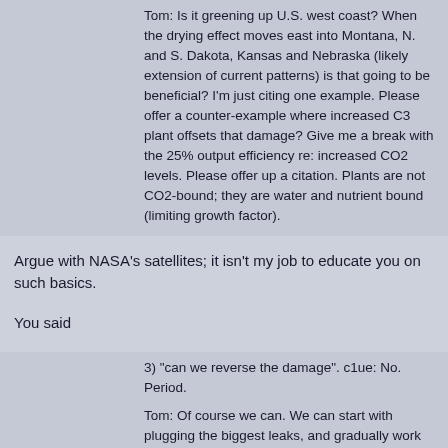Tom: Is it greening up U.S. west coast? When the drying effect moves east into Montana, N. and S. Dakota, Kansas and Nebraska (likely extension of current patterns) is that going to be beneficial? I'm just citing one example. Please offer a counter-example where increased C3 plant offsets that damage? Give me a break with the 25% output efficiency re: increased CO2 levels. Please offer up a citation. Plants are not CO2-bound; they are water and nutrient bound (limiting growth factor).
Argue with NASA's satellites; it isn't my job to educate you on such basics.
You said
3) "can we reverse the damage". c1ue: No. Period.
Tom: Of course we can. We can start with plugging the biggest leaks, and gradually work our way thru the punch-list of items that need to be addressed. What's missing is a clear definition of the problem, a stratified list of solutions, and clear incentives to implement the solutions. The main obstruction is the that "no" attitude.
We *can* in the theoretical sense: if a magical entity with infinite power forced the majority of humanity to do what you and the doom-mongers want humanity to do, maybe. But